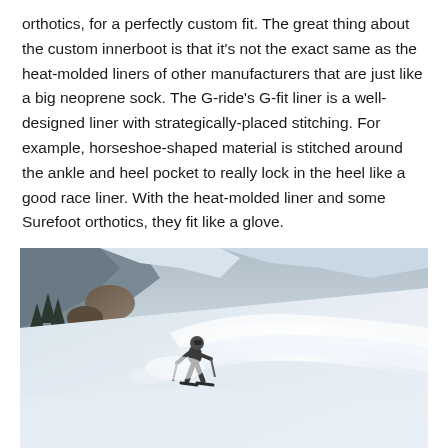orthotics, for a perfectly custom fit. The great thing about the custom innerboot is that it's not the exact same as the heat-molded liners of other manufacturers that are just like a big neoprene sock. The G-ride's G-fit liner is a well-designed liner with strategically-placed stitching. For example, horseshoe-shaped material is stitched around the ankle and heel pocket to really lock in the heel like a good race liner. With the heat-molded liner and some Surefoot orthotics, they fit like a glove.
[Figure (photo): A skier in dark gear carving through deep powder snow on a steep mountain slope, with snow spraying dramatically around them. Rocky mountain terrain and trees visible in the background.]